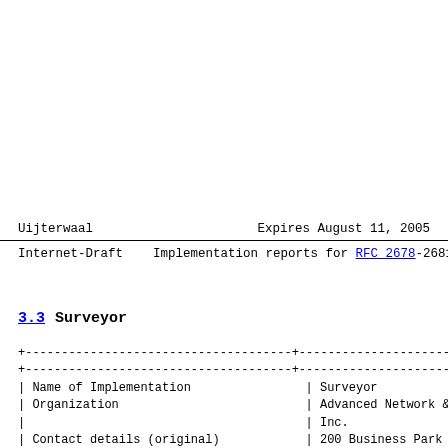Uijterwaal                    Expires August 11, 2005
Internet-Draft    Implementation reports for RFC 2678-2681
3.3  Surveyor
| Name of Implementation
Organization | Surveyor
Advanced Network & 
Inc. |
| --- | --- |
| Contact details (original) | 200 Business Park D
NY 10504, USA |
| Contact details (current) | Wisconsin Advanced
Email: pb@cs.wisc.e |
| Report submitted by: | Matthew Zekauskas,
2004, matt@internet |